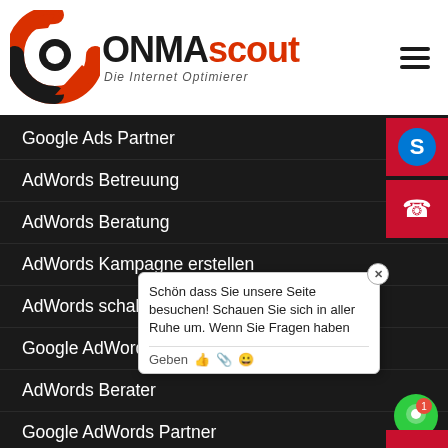[Figure (logo): ONMAscout logo with red swirl icon and tagline 'Die Internet Optimierer']
Google Ads Partner
AdWords Betreuung
AdWords Beratung
AdWords Kampagne erstellen
AdWords schalten lassen
Google AdWords schalten lassen
AdWords Berater
Google AdWords Partner
Bing
Bing Ads
Schön dass Sie unsere Seite besuchen! Schauen Sie sich in aller Ruhe um. Wenn Sie Fragen haben